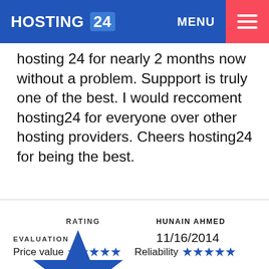HOSTING 24 | MENU
hosting 24 for nearly 2 months now without a problem. Suppport is truly one of the best. I would reccoment hosting24 for everyone over other hosting providers. Cheers hosting24 for being the best.
[Figure (other): Blue star rating icon showing 5/5 score with RATING label above, and reviewer HUNAIN AHMED dated 11/16/2014]
EVALUATION
Price value ★★★★★  Reliability ★★★★★